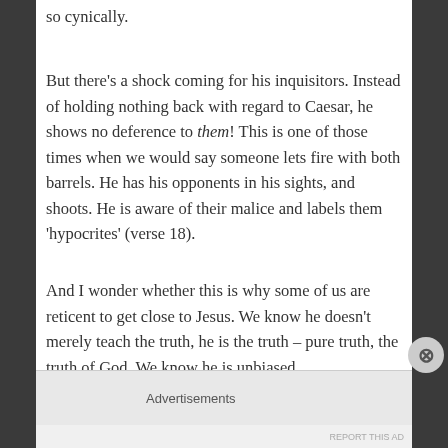so cynically.
But there’s a shock coming for his inquisitors. Instead of holding nothing back with regard to Caesar, he shows no deference to them! This is one of those times when we would say someone lets fire with both barrels. He has his opponents in his sights, and shoots. He is aware of their malice and labels them ‘hypocrites’ (verse 18).
And I wonder whether this is why some of us are reticent to get close to Jesus. We know he doesn’t merely teach the truth, he is the truth – pure truth, the truth of God. We know he is unbiased.
Advertisements